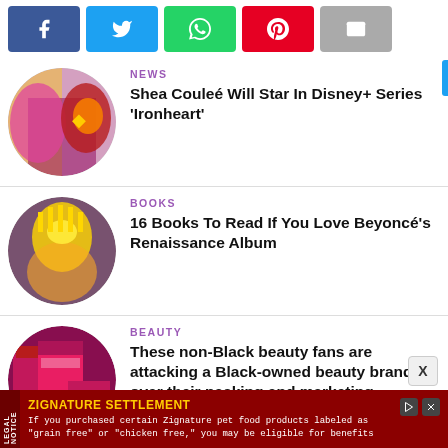[Figure (other): Social media share buttons: Facebook (blue), Twitter (light blue), WhatsApp (green), Pinterest (red), Email (gray)]
[Figure (photo): Circular thumbnail photo of Shea Couleé with colorful performance costume and Iron Man character]
NEWS
Shea Couleé Will Star In Disney+ Series 'Ironheart'
[Figure (photo): Circular thumbnail photo of a performer in gold costume, related to Beyoncé Renaissance album]
BOOKS
16 Books To Read If You Love Beyoncé's Renaissance Album
[Figure (photo): Circular thumbnail photo of beauty products - jars with pink and maroon packaging]
BEAUTY
These non-Black beauty fans are attacking a Black-owned beauty brand over their packing and marketing
ZIGNATURE SETTLEMENT
If you purchased certain Zignature pet food products labeled as "grain free" or "chicken free," you may be eligible for benefits